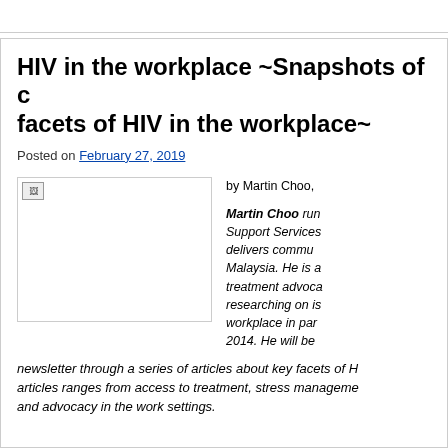HIV in the workplace ~Snapshots of c facets of HIV in the workplace~
Posted on February 27, 2019
[Figure (photo): Image placeholder with broken image icon]
by Martin Choo,
Martin Choo runs Support Services... delivers commu... Malaysia. He is a treatment advoca... researching on is... workplace in par... 2014. He will be newsletter through a series of articles about key facets of H... articles ranges from access to treatment, stress manageme... and advocacy in the work settings.